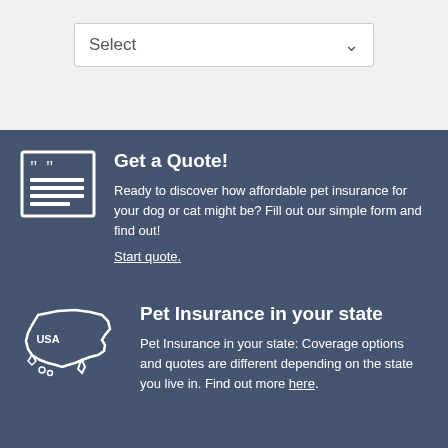[Figure (screenshot): A dropdown select box with 'Select' placeholder text and a chevron arrow, on a light gray background.]
Get a Quote!
Ready to discover how affordable pet insurance for your dog or cat might be? Fill out our simple form and find out!
Start quote.
Pet Insurance in your state
Pet Insurance in your state: Coverage options and quotes are different depending on the state you live in. Find out more here.